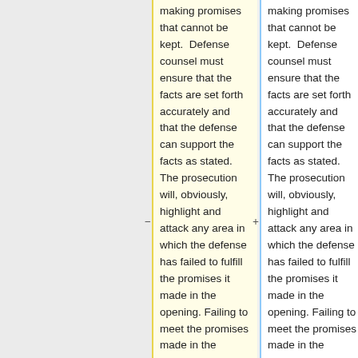making promises that cannot be kept. Defense counsel must ensure that the facts are set forth accurately and that the defense can support the facts as stated. The prosecution will, obviously, highlight and attack any area in which the defense has failed to fulfill the promises it made in the opening. Failing to meet the promises made in the opening
making promises that cannot be kept. Defense counsel must ensure that the facts are set forth accurately and that the defense can support the facts as stated. The prosecution will, obviously, highlight and attack any area in which the defense has failed to fulfill the promises it made in the opening. Failing to meet the promises made in the opening